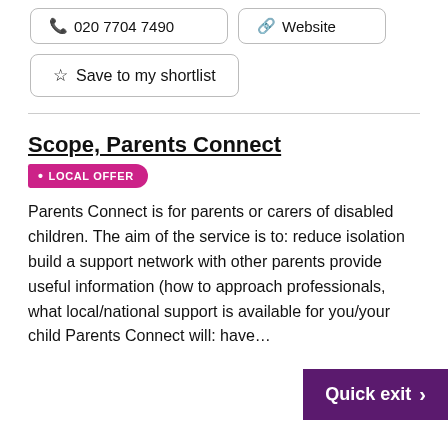📍 N7 8RH   ✉ Email
📞 020 7704 7490   🔗 Website
☆ Save to my shortlist
Scope, Parents Connect
• LOCAL OFFER
Parents Connect is for parents or carers of disabled children. The aim of the service is to: reduce isolation build a support network with other parents provide useful information (how to approach professionals, what local/national support is available for you/your child Parents Connect will: have…
Quick exit >